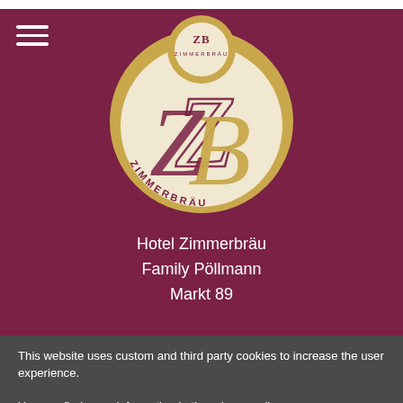[Figure (logo): Zimmerbräu circular logo with ZB monogram in gold and dark red, with text ZIMMERBRÄU around bottom]
Hotel Zimmerbräu
Family Pöllmann
Markt 89
This website uses custom and third party cookies to increase the user experience.

You can find more information in the privacy policy.
Manage cookies
Accept all